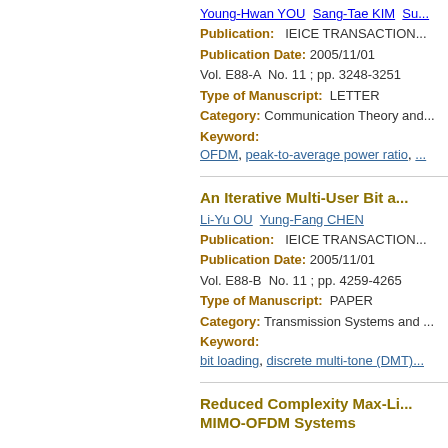Young-Hwan YOU  Sang-Tae KIM  Su...
Publication:   IEICE TRANSACTION...
Publication Date: 2005/11/01
Vol. E88-A  No. 11 ; pp. 3248-3251
Type of Manuscript:  LETTER
Category: Communication Theory and...
Keyword:
OFDM, peak-to-average power ratio, ...
An Iterative Multi-User Bit a...
Li-Yu OU  Yung-Fang CHEN
Publication:   IEICE TRANSACTION...
Publication Date: 2005/11/01
Vol. E88-B  No. 11 ; pp. 4259-4265
Type of Manuscript:  PAPER
Category: Transmission Systems and ...
Keyword:
bit loading, discrete multi-tone (DMT)...
Reduced Complexity Max-Li... MIMO-OFDM Systems